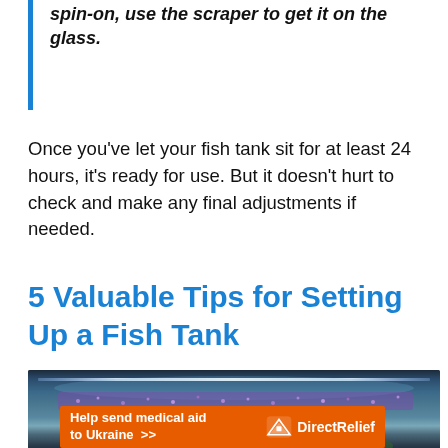spin-on, use the scraper to get it on the glass.
Once you've let your fish tank sit for at least 24 hours, it's ready for use. But it doesn't hurt to check and make any final adjustments if needed.
5 Valuable Tips for Setting Up a Fish Tank
[Figure (photo): Photo of an aquarium tank with blue/purple LED lighting showing bubbles and water.]
[Figure (other): Advertisement banner: Help send medical aid to Ukraine >> Direct Relief logo]